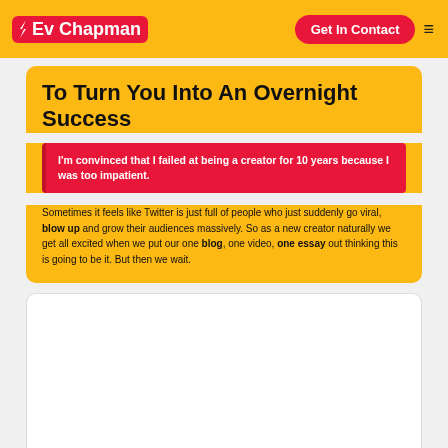Ev Chapman — Get In Contact
To Turn You Into An Overnight Success
I'm convinced that I failed at being a creator for 10 years because I was too impatient.
Sometimes it feels like Twitter is just full of people who just suddenly go viral, blow up and grow their audiences massively. So as a new creator naturally we get all excited when we put our one blog, one video, one essay out thinking this is going to be it. But then we wait.